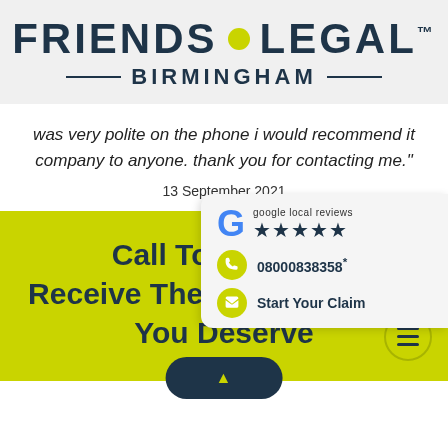[Figure (logo): Friends Legal Birmingham logo with yellow dot between FRIENDS and LEGAL text]
was very polite on the phone i would recommend it company to anyone. thank you for contacting me."
13 September 2021
[Figure (infographic): Google local reviews 5-star badge with phone number 08000838358 and Start Your Claim link]
Call To Claim W... Receive The Compensation You Deserve